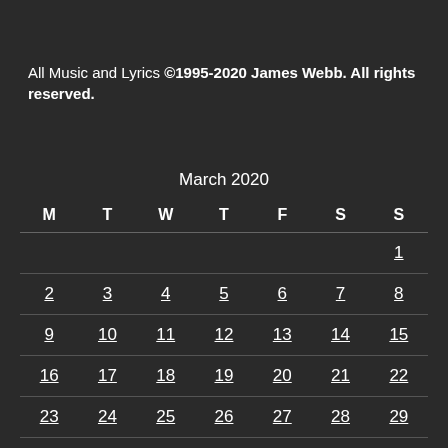All Music and Lyrics ©1995-2020 James Webb. All rights reserved.
| M | T | W | T | F | S | S |
| --- | --- | --- | --- | --- | --- | --- |
|  |  |  |  |  |  | 1 |
| 2 | 3 | 4 | 5 | 6 | 7 | 8 |
| 9 | 10 | 11 | 12 | 13 | 14 | 15 |
| 16 | 17 | 18 | 19 | 20 | 21 | 22 |
| 23 | 24 | 25 | 26 | 27 | 28 | 29 |